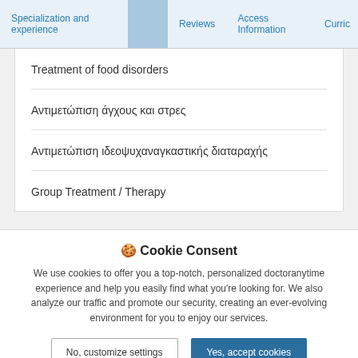Specialization and experience | Reviews | Access Information | Curric
Treatment of food disorders
Αντιμετώπιση άγχους και στρες
Αντιμετώπιση ιδεοψυχαναγκαστικής διαταραχής
Group Treatment / Therapy
🍪 Cookie Consent
We use cookies to offer you a top-notch, personalized doctoranytime experience and help you easily find what you're looking for. We also analyze our traffic and promote our security, creating an ever-evolving environment for you to enjoy our services.
No, customize settings | Yes, accept cookies